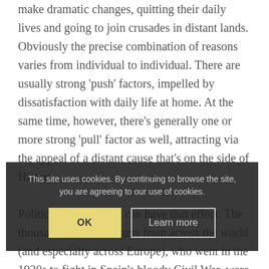make dramatic changes, quitting their daily lives and going to join crusades in distant lands. Obviously the precise combination of reasons varies from individual to individual. There are usually strong 'push' factors, impelled by dissatisfaction with daily life at home. At the same time, however, there's generally one or more strong 'pull' factor as well, attracting via the appeal of a distant cause that's on the side of History.

Political commitment can have that effect. The thousands of left-wingers from across the world (and especially across Europe), who went in the 1930s to fight in Spain's bloody Civil War, were not simply attracted by their support for Spain's democratic government. Many were communists. Even if not drilled in the niceties of Marxist theory, they were accustomed to thinking of
This site uses cookies. By continuing to browse the site, you are agreeing to our use of cookies.